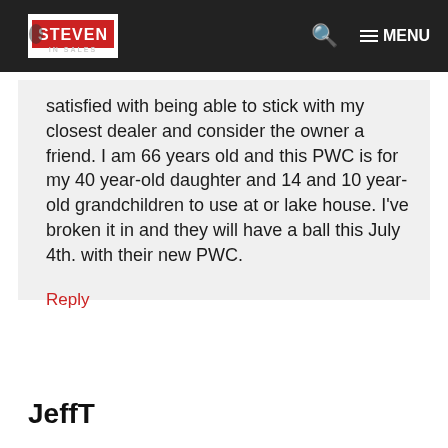STEVEN IN SALES | MENU
satisfied with being able to stick with my closest dealer and consider the owner a friend. I am 66 years old and this PWC is for my 40 year-old daughter and 14 and 10 year-old grandchildren to use at or lake house. I've broken it in and they will have a ball this July 4th. with their new PWC.
Reply
JeffT